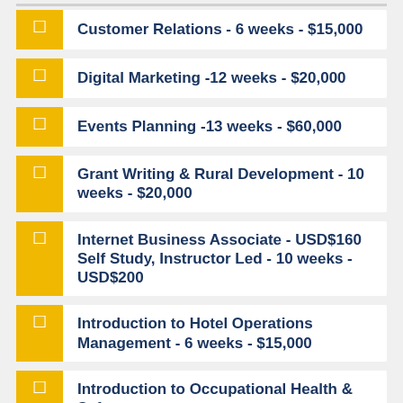Customer Relations - 6 weeks - $15,000
Digital Marketing  -12 weeks - $20,000
Events Planning  -13 weeks - $60,000
Grant Writing & Rural Development -  10 weeks - $20,000
Internet Business Associate - USD$160 Self Study, Instructor Led - 10 weeks - USD$200
Introduction to Hotel Operations Management - 6 weeks - $15,000
Introduction to Occupational Health & Safety